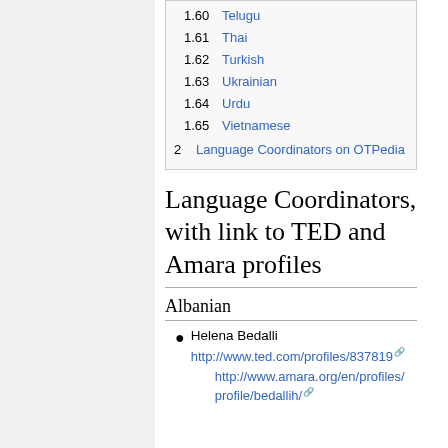1.60  Telugu
1.61  Thai
1.62  Turkish
1.63  Ukrainian
1.64  Urdu
1.65  Vietnamese
2  Language Coordinators on OTPedia
Language Coordinators, with link to TED and Amara profiles
Albanian
Helena Bedalli
http://www.ted.com/profiles/837819
http://www.amara.org/en/profiles/profile/bedallih/